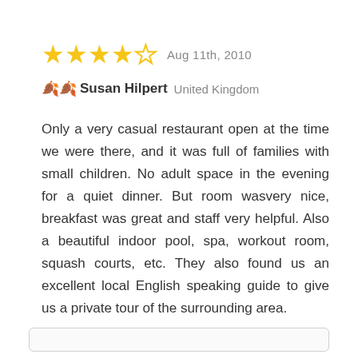[Figure (other): 4 filled gold stars and 1 empty gold star rating, followed by date 'Aug 11th, 2010']
🍂🍂 Susan Hilpert  United Kingdom
Only a very casual restaurant open at the time we were there, and it was full of families with small children. No adult space in the evening for a quiet dinner. But room wasvery nice, breakfast was great and staff very helpful. Also a beautiful indoor pool, spa, workout room, squash courts, etc. They also found us an excellent local English speaking guide to give us a private tour of the surrounding area.